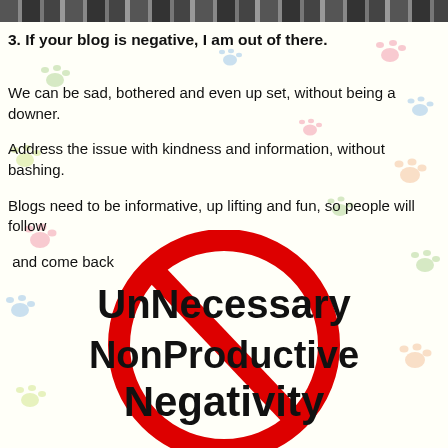3. If your blog is negative, I am out of there.
We can be sad, bothered and even up set, without being a downer.
Address the issue with kindness and information, without bashing.
Blogs need to be informative, up lifting and fun, so people will follow
 and come back
[Figure (illustration): A red prohibition circle-and-slash sign overlaid with bold black text reading 'UnNecessary NonProductive Negativity', on a background with colorful paw prints.]